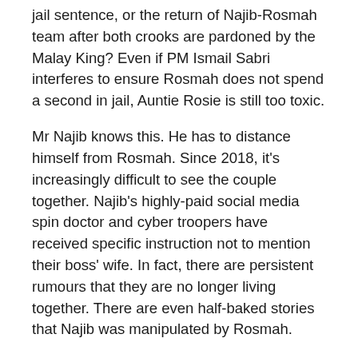jail sentence, or the return of Najib-Rosmah team after both crooks are pardoned by the Malay King? Even if PM Ismail Sabri interferes to ensure Rosmah does not spend a second in jail, Auntie Rosie is still too toxic.
Mr Najib knows this. He has to distance himself from Rosmah. Since 2018, it's increasingly difficult to see the couple together. Najib's highly-paid social media spin doctor and cyber troopers have received specific instruction not to mention their boss' wife. In fact, there are persistent rumours that they are no longer living together. There are even half-baked stories that Najib was manipulated by Rosmah.
Yes, to cleanse Najib Razak, the PR team is tasked to create a comical narrative that the former premier had not only been conned or scammed by Najib's partner-in-crime Jho Low in the 1MDB scandal, but Najib too had suffered under Rosmah's heavy influence so much so that the Malaysian